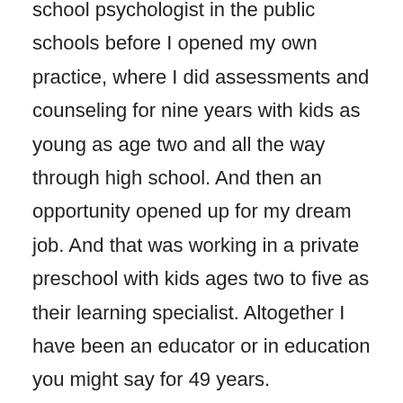school psychologist in the public schools before I opened my own practice, where I did assessments and counseling for nine years with kids as young as age two and all the way through high school. And then an opportunity opened up for my dream job. And that was working in a private preschool with kids ages two to five as their learning specialist. Altogether I have been an educator or in education you might say for 49 years.
Kathy: Well, that is awesome.
So you have a lot of places to gather resources and ideas from all that experience you have. So I know